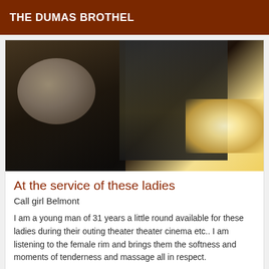THE DUMAS BROTHEL
[Figure (photo): Dark nighttime photograph appearing to show a person in dark clothing on the right side, with items visible on the left. The image is very dark with a bright light source visible in the lower right area.]
At the service of these ladies
Call girl Belmont
I am a young man of 31 years a little round available for these ladies during their outing theater theater cinema etc.. I am listening to the female rim and brings them the softness and moments of tenderness and massage all in respect.
Online